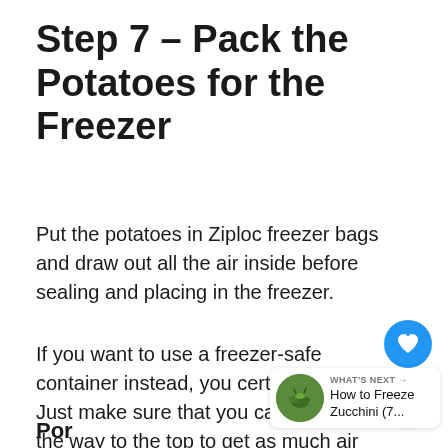Step 7 - Pack the Potatoes for the Freezer
Put the potatoes in Ziploc freezer bags and draw out all the air inside before sealing and placing in the freezer.
If you want to use a freezer-safe container instead, you certainly can. Just make sure that you can fill it all the way to the top to get as much air out as possible.
[Figure (infographic): Heart/favorite button (blue circle with heart icon) and share button (light circle with share icon), and a 'What's Next' card showing a thumbnail of zucchini with text 'How to Freeze Zucchini (7...']
Por...